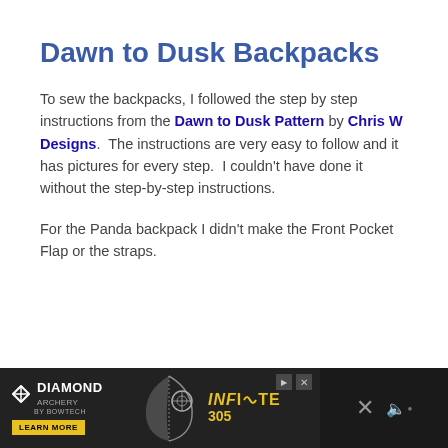Dawn to Dusk Backpacks
To sew the backpacks, I followed the step by step instructions from the Dawn to Dusk Pattern by Chris W Designs.  The instructions are very easy to follow and it has pictures for every step.  I couldn't have done it without the step-by-step instructions.
For the Panda backpack I didn't make the Front Pocket Flap or the straps.
[Figure (other): Diamond Archery advertisement banner at the bottom of the page showing the Diamond Archery logo with 'Learn More' button, an archery bow image, and 'INFINITE 305' text in gold on dark background.]